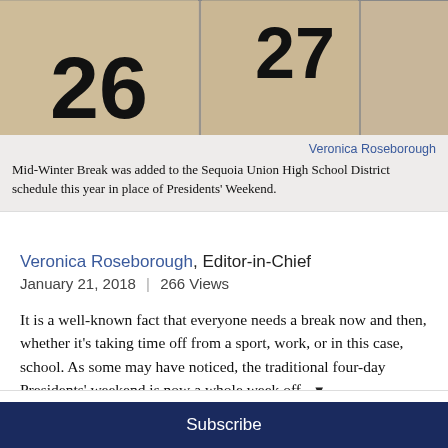[Figure (photo): Close-up photo of a calendar showing numbers 26 and 27 in large bold font against a beige/tan background]
Veronica Roseborough
Mid-Winter Break was added to the Sequoia Union High School District schedule this year in place of Presidents' Weekend.
Veronica Roseborough, Editor-in-Chief
January 21, 2018 | 266 Views
It is a well-known fact that everyone needs a break now and then, whether it's taking time off from a sport, work, or in this case, school. As some may have noticed, the traditional four-day Presidents' weekend is now a whole week off ▼
Subscribe to our weekly e-news letter!
Your email address..
Subscribe